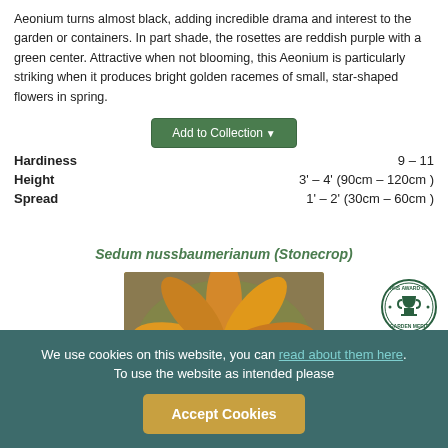Aeonium turns almost black, adding incredible drama and interest to the garden or containers. In part shade, the rosettes are reddish purple with a green center. Attractive when not blooming, this Aeonium is particularly striking when it produces bright golden racemes of small, star-shaped flowers in spring.
[Figure (other): Add to Collection button with dropdown arrow]
| Property | Value |
| --- | --- |
| Hardiness | 9 – 11 |
| Height | 3' – 4' (90cm – 120cm ) |
| Spread | 1' – 2' (30cm – 60cm ) |
Sedum nussbaumerianum (Stonecrop)
[Figure (photo): Close-up photo of Sedum nussbaumerianum (Stonecrop) succulent plant with orange and green rosette leaves]
[Figure (logo): RHS Award of Garden Merit circular badge/seal]
We use cookies on this website, you can read about them here. To use the website as intended please
[Figure (other): Accept Cookies button]